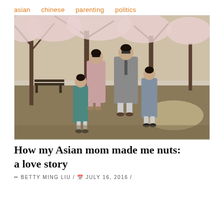asian   chinese   parenting   politics
[Figure (photo): Vintage family photograph of two parents and two young girls standing in a park with cherry blossom trees in bloom. The mother wears a pink dress and sunglasses, the father wears a gray overcoat and glasses, the younger girl wears a teal coat, and the older girl wears a gray jacket. A park bench is visible in the background.]
How my Asian mom made me nuts: a love story
BETTY MING LIU / JULY 16, 2016 /